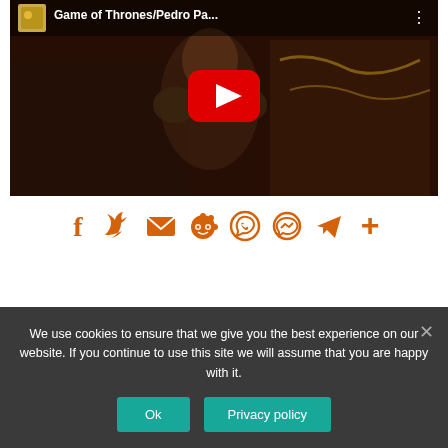[Figure (screenshot): YouTube video thumbnail showing Game of Thrones/Pedro Pa... with play button overlay. Dark medieval scene with a figure in costume. Title bar at top with thumbnail icon and three-dot menu.]
[Figure (infographic): Social media share icons row: Facebook (f), Twitter (bird), Email (envelope), Reddit (alien), WhatsApp (phone bubble), Messenger (lightning bolt bubble), Telegram (paper plane), Plus (+). All icons in orange/burnt orange color.]
We use cookies to ensure that we give you the best experience on our website. If you continue to use this site we will assume that you are happy with it.